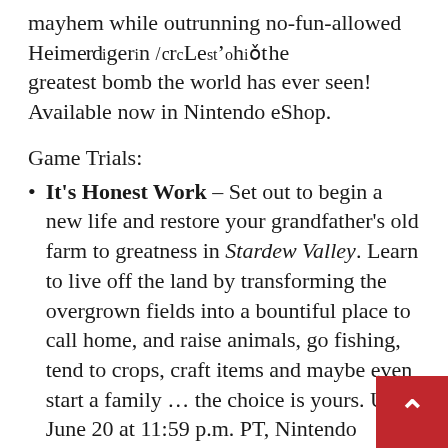mayhem while outrunning no-fun-allowed Heimerdinger in your quest to build the greatest bomb the world has ever seen! Available now in Nintendo eShop.
Game Trials:
It's Honest Work – Set out to begin a new life and restore your grandfather's old farm to greatness in Stardew Valley. Learn to live off the land by transforming the overgrown fields into a bountiful place to call home, and raise animals, go fishing, tend to crops, craft items and maybe even start a family … the choice is yours. Until June 20 at 11:59 p.m. PT, Nintendo Switch Online and Nintendo Switch Online Expansion Pack members can try the full game for free!* Your save data for the Game Trial is